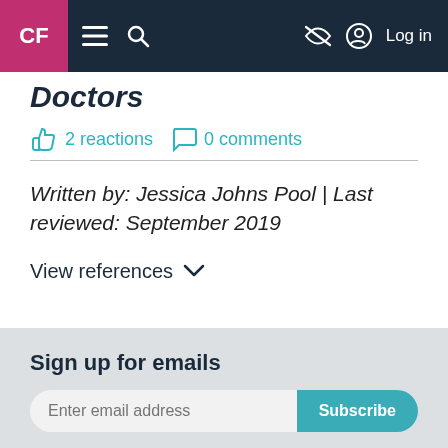CF | ≡ 🔍 | Log in
Doctors
2 reactions  0 comments
Written by: Jessica Johns Pool | Last reviewed: September 2019
View references ∨
Sign up for emails
Enter email address  Subscribe